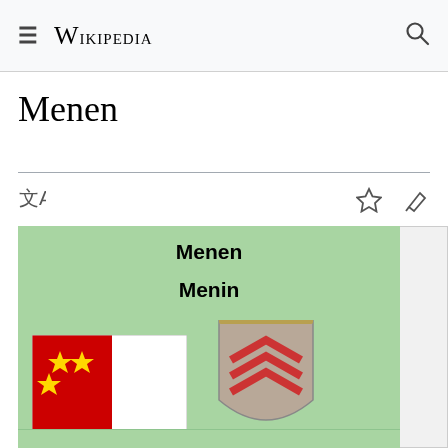≡ Wikipedia 🔍
Menen
[Figure (screenshot): Wikipedia infobox for Menen showing green background with title Menen / Menin, flag of Menen (red and white with yellow stars), and coat of arms (heraldic shield with crown and chevrons)]
Bratach a' bhaile
Gearradh-arm no Seula